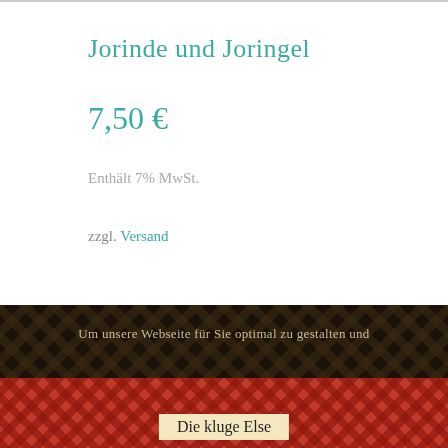Jorinde und Joringel
7,50 €
Enthält 7% MwSt.
zzgl. Versand
Um unsere Webseite für Sie optimal zu gestalten und fortlaufend verbessern zu können, verwenden wir Cookies. Durch die weitere Nutzung der Webseite stimmen Sie der Verwendung von Cookies zu. Weitere Informationen zu Cookies erhalten Sie in unserer Datenschutzerklärung.
OK
Datenschutzerklärung
Die kluge Else